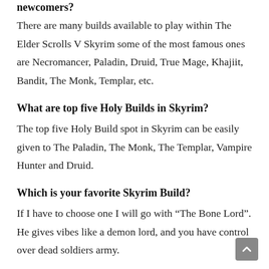newcomers?
There are many builds available to play within The Elder Scrolls V Skyrim some of the most famous ones are Necromancer, Paladin, Druid, True Mage, Khajiit, Bandit, The Monk, Templar, etc.
What are top five Holy Builds in Skyrim?
The top five Holy Build spot in Skyrim can be easily given to The Paladin, The Monk, The Templar, Vampire Hunter and Druid.
Which is your favorite Skyrim Build?
If I have to choose one I will go with “The Bone Lord”. He gives vibes like a demon lord, and you have control over dead soldiers army.